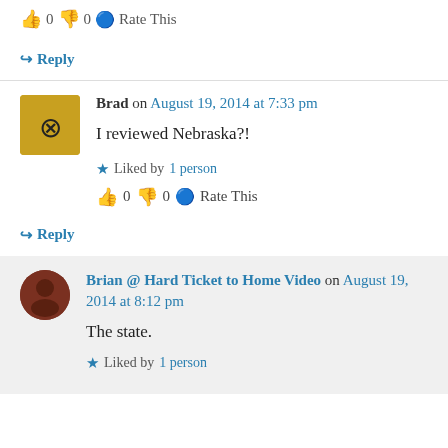👍 0 👎 0 ℹ Rate This
↪ Reply
Brad on August 19, 2014 at 7:33 pm
I reviewed Nebraska?!
★ Liked by 1 person
👍 0 👎 0 ℹ Rate This
↪ Reply
Brian @ Hard Ticket to Home Video on August 19, 2014 at 8:12 pm
The state.
★ Liked by 1 person